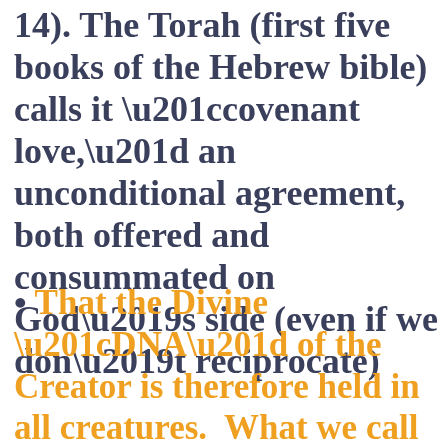14). The Torah (first five books of the Hebrew bible) calls it “covenant love,” an unconditional agreement, both offered and consummated on God’s side (even if we don’t reciprocate)
That the Divine “DNA” of the Creator is therefore held in all creatures.  What we call the “soul” of every creature could easily be seen